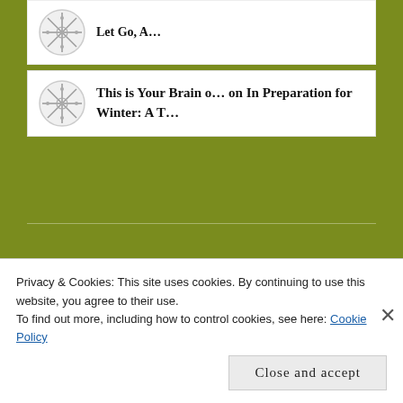Let Go, A…
This is Your Brain o… on In Preparation for Winter: A T…
ARCHIVES
May 2021
Privacy & Cookies: This site uses cookies. By continuing to use this website, you agree to their use.
To find out more, including how to control cookies, see here: Cookie Policy
Close and accept